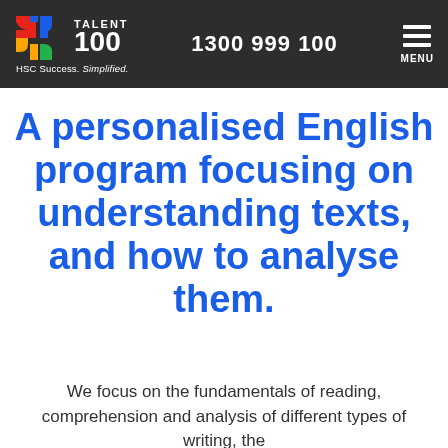Talent 100 | HSC Success. Simplified. | 1300 999 100 | MENU
A personalised English program focusing on understanding texts, and how to analyse them.
We focus on the fundamentals of reading, comprehension and analysis of different types of writing, the